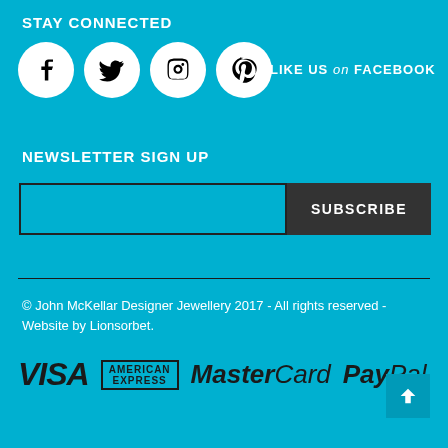STAY CONNECTED
[Figure (illustration): Four white circular social media icons: Facebook (f), Twitter (bird), Instagram (camera), Pinterest (p)]
LIKE US on FACEBOOK
NEWSLETTER SIGN UP
Email input field and SUBSCRIBE button
© John McKellar Designer Jewellery 2017 - All rights reserved - Website by Lionsorbet.
[Figure (logo): Payment logos: VISA, AMERICAN EXPRESS, MasterCard, PayPal]